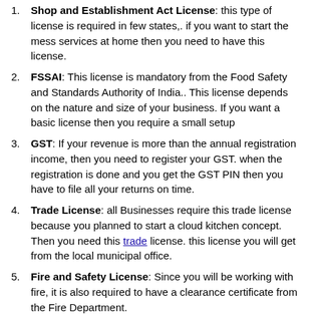Shop and Establishment Act License: this type of license is required in few states,. if you want to start the mess services at home then you need to have this license.
FSSAI: This license is mandatory from the Food Safety and Standards Authority of India.. This license depends on the nature and size of your business. If you want a basic license then you require a small setup
GST: If your revenue is more than the annual registration income, then you need to register your GST. when the registration is done and you get the GST PIN then you have to file all your returns on time.
Trade License: all Businesses require this trade license because you planned to start a cloud kitchen concept. Then you need this trade license. this license you will get from the local municipal office.
Fire and Safety License: Since you will be working with fire, it is also required to have a clearance certificate from the Fire Department.